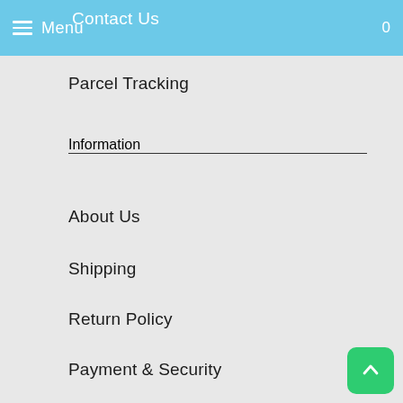Menu  Contact Us  0
Parcel Tracking
Information
About Us
Shipping
Return Policy
Payment & Security
Privacy Policy
Terms & Conditions
About Seven Daisy